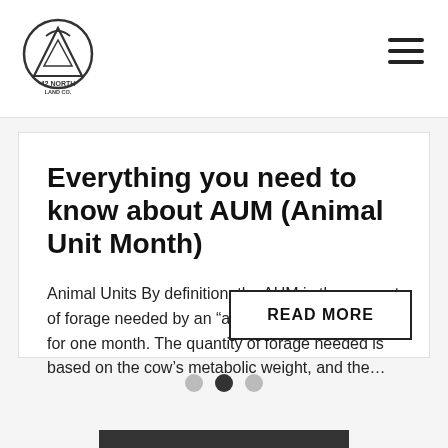42 North Land Co. — navigation header with logo and hamburger menu
Everything you need to know about AUM (Animal Unit Month)
Animal Units By definition, the AUM is the amount of forage needed by an “animal unit” (AU) grazing for one month. The quantity of forage needed is based on the cow’s metabolic weight, and the…
READ MORE
[Figure (other): Carousel navigation dots — three circles, middle one filled/active]